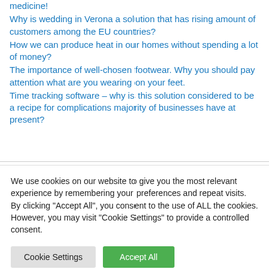medicine!
Why is wedding in Verona a solution that has rising amount of customers among the EU countries?
How we can produce heat in our homes without spending a lot of money?
The importance of well-chosen footwear. Why you should pay attention what are you wearing on your feet.
Time tracking software – why is this solution considered to be a recipe for complications majority of businesses have at present?
We use cookies on our website to give you the most relevant experience by remembering your preferences and repeat visits. By clicking "Accept All", you consent to the use of ALL the cookies. However, you may visit "Cookie Settings" to provide a controlled consent.